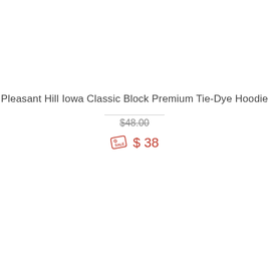Pleasant Hill Iowa Classic Block Premium Tie-Dye Hoodie
$48.00 (strikethrough original price)
$ 38 (sale price with sale tag icon)